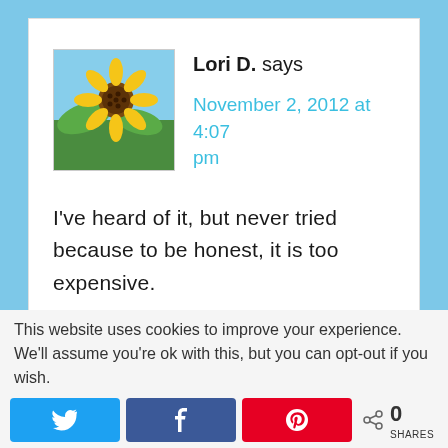[Figure (photo): Avatar photo of a sunflower with yellow petals and green leaves against a sky background]
Lori D. says
November 2, 2012 at 4:07 pm
I've heard of it, but never tried because to be honest, it is too expensive.
This website uses cookies to improve your experience. We'll assume you're ok with this, but you can opt-out if you wish.
0 SHARES